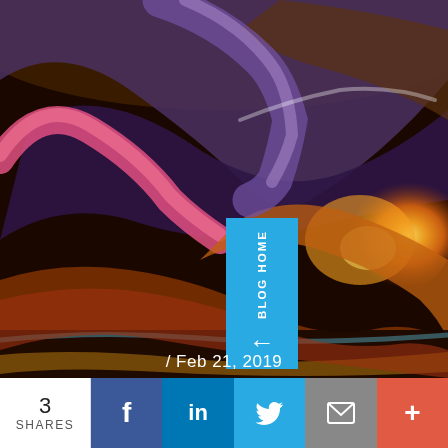[Figure (illustration): Abstract swirling painting with warm oranges, browns, purples, and pinks creating wave-like patterns, reminiscent of a stylized eye or cosmic swirl]
BLOG HOME ←
/ Feb 21, 2019
3
SHARES
f
in
🐦
✉
+